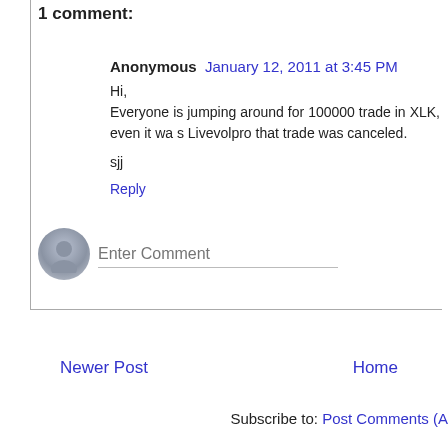1 comment:
Anonymous  January 12, 2011 at 3:45 PM
Hi,
Everyone is jumping around for 100000 trade in XLK, even it was on Livevolpro that trade was canceled.

sjj
Reply
Enter Comment
Newer Post
Home
Subscribe to: Post Comments (A